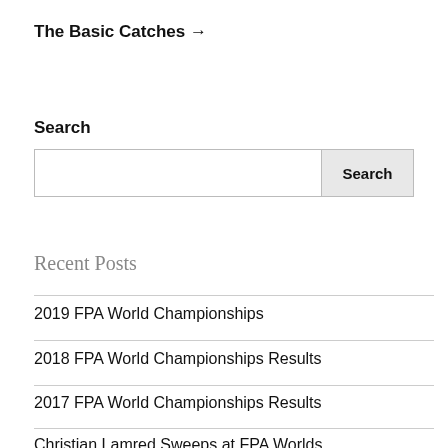The Basic Catches →
Search
Search [input field] [Search button]
Recent Posts
2019 FPA World Championships
2018 FPA World Championships Results
2017 FPA World Championships Results
Christian Lamred Sweeps at FPA Worlds